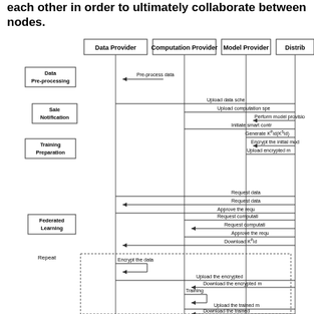each other in order to ultimately collaborate between nodes.
[Figure (flowchart): UML sequence diagram showing interactions between Data Provider, Computation Provider, Model Provider, and Distributor roles. Phases include Data Pre-processing, Sale Notification, Training Preparation, and Federated Learning. Steps include: Pre-process data, Upload data schema, Upload computation spec, Perform model provision, Initiate smart contract, Generate K^P_id(K^S_id), Encrypt the initial model, Upload encrypted model, Request data, Request data, Approve the request, Request computation, Request computation, Approve the request, Download K^P_id, Encrypt the data, Upload the encrypted data, Download the encrypted model, Training, Upload the trained model, Download the trained model.]